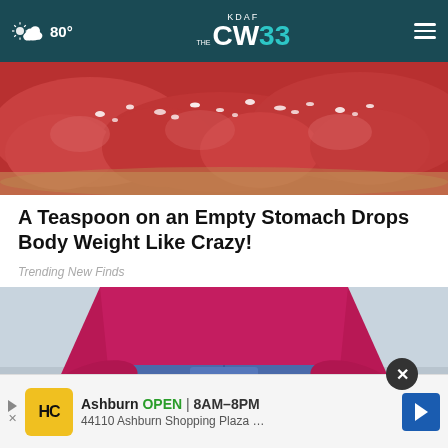KDAF CW33 — 80°
[Figure (photo): Close-up photo of raw sausages or meat covered with white salt/seasoning flakes on a sandy/wooden surface]
A Teaspoon on an Empty Stomach Drops Body Weight Like Crazy!
Trending New Finds
[Figure (photo): Woman in magenta/pink long-sleeve top and blue jeans, hands clasped in front at waist level, gray background]
Ashburn OPEN 8AM–8PM 44110 Ashburn Shopping Plaza …